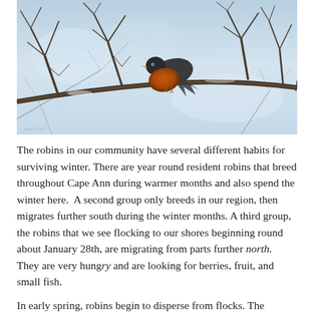[Figure (photo): A robin with a rust-orange breast perched on bare winter tree branches, with a snowy sky background. A small watermark in the lower left reads 'march 2017'.]
The robins in our community have several different habits for surviving winter. There are year round resident robins that breed throughout Cape Ann during warmer months and also spend the winter here.  A second group only breeds in our region, then migrates further south during the winter months. A third group, the robins that we see flocking to our shores beginning round about January 28th, are migrating from parts further north. They are very hungry and are looking for berries, fruit, and small fish.
In early spring, robins begin to disperse from flocks. The